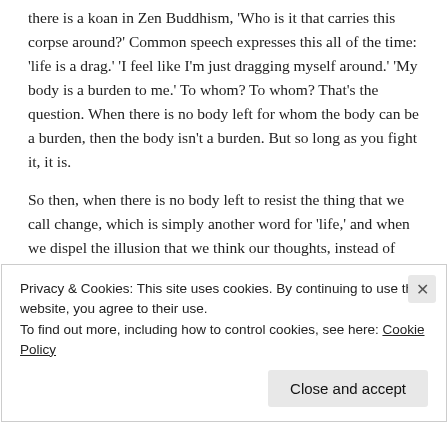there is a koan in Zen Buddhism, 'Who is it that carries this corpse around?' Common speech expresses this all of the time: 'life is a drag.' 'I feel like I'm just dragging myself around.' 'My body is a burden to me.' To whom? To whom? That's the question. When there is no body left for whom the body can be a burden, then the body isn't a burden. But so long as you fight it, it is.
So then, when there is no body left to resist the thing that we call change, which is simply another word for 'life,' and when we dispel the illusion that we think our thoughts, instead of being just a stream of thoughts, and that we feel our feelings, instead of being just feelings–it's like saying, you know, 'To feel the
Privacy & Cookies: This site uses cookies. By continuing to use this website, you agree to their use.
To find out more, including how to control cookies, see here: Cookie Policy
Close and accept